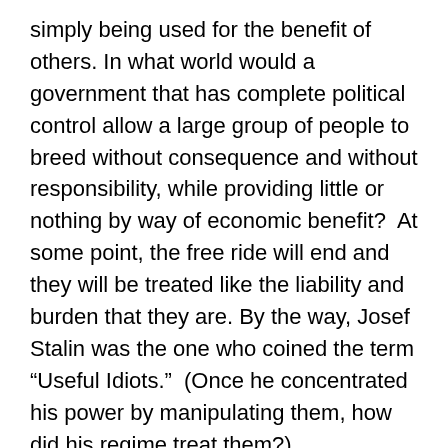simply being used for the benefit of others. In what world would a government that has complete political control allow a large group of people to breed without consequence and without responsibility, while providing little or nothing by way of economic benefit?  At some point, the free ride will end and they will be treated like the liability and burden that they are. By the way, Josef Stalin was the one who coined the term “Useful Idiots.”  (Once he concentrated his power by manipulating them, how did his regime treat them?)
Ironically, if you look at the history of the Alinsky model and its place in progressive/liberal politics, you’ll notice that making temporary “useful” idiots out of “useless” idiots, for social change often does nothing meaningful for those “idiots.” They may get a bone here and there, but the real benefits are to others (ie, the wealthy political